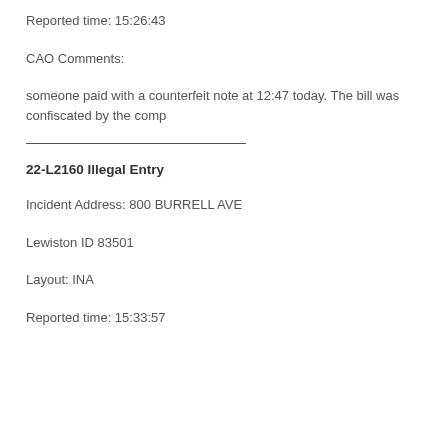Reported time: 15:26:43
CAO Comments:
someone paid with a counterfeit note at 12:47 today. The bill was confiscated by the comp
22-L2160 Illegal Entry
Incident Address: 800 BURRELL AVE
Lewiston ID 83501
Layout: INA
Reported time: 15:33:57